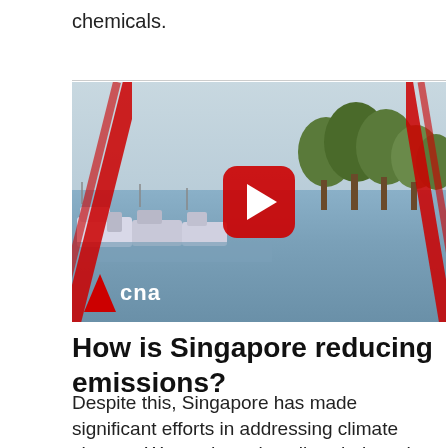chemicals.
[Figure (screenshot): CNA news video thumbnail showing boats moored on water with trees in background and a YouTube play button overlay. CNA logo visible in bottom left.]
How is Singapore reducing emissions?
Despite this, Singapore has made significant efforts in addressing climate change. We made early policy choices that reduced our GHG emissions, for example by switching